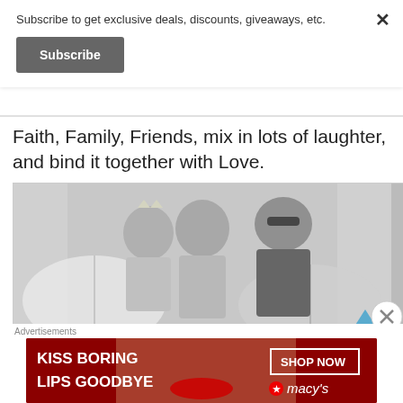Subscribe to get exclusive deals, discounts, giveaways, etc.
Subscribe
Faith, Family, Friends, mix in lots of laughter, and bind it together with Love.
[Figure (photo): Black and white photo booth image of three people (a young girl with a tiara, a woman with glasses, and a man in a suit with sunglasses) holding decorative umbrellas]
Advertisements
[Figure (other): Macy's advertisement banner with text 'KISS BORING LIPS GOODBYE' and 'SHOP NOW' button with Macy's logo on dark red background with a model's face]